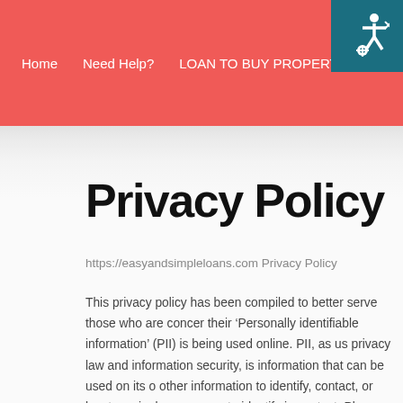Home   Need Help?   LOAN TO BUY PROPERTIES   RE...
Privacy Policy
https://easyandsimpleloans.com Privacy Policy
This privacy policy has been compiled to better serve those who are concerned how their 'Personally identifiable information' (PII) is being used online. PII, as used in privacy law and information security, is information that can be used on its own or with other information to identify, contact, or locate a single person, or to identify an individual in context. Please read our privacy policy carefully to get a clear understanding of how we collect, use, protect or otherwise handle your Personally Identifiable Information in accordance with our website.